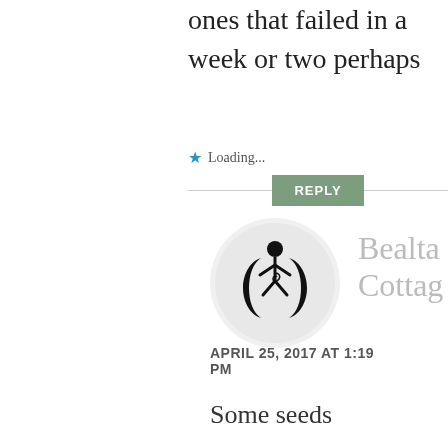ones that failed in a week or two perhaps
Loading...
REPLY
[Figure (illustration): Circular avatar with triple goddess / moon goddess symbol in black on light grey background]
Bealta
Cottag
APRIL 25, 2017 AT 1:19 PM
Some seeds